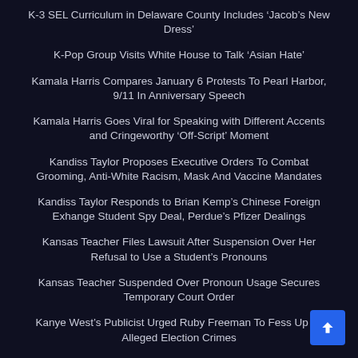K-3 SEL Curriculum in Delaware County Includes ‘Jacob’s New Dress’
K-Pop Group Visits White House to Talk ‘Asian Hate’
Kamala Harris Compares January 6 Protests To Pearl Harbor, 9/11 In Anniversary Speech
Kamala Harris Goes Viral for Speaking with Different Accents and Cringeworthy ‘Off-Script’ Moment
Kandiss Taylor Proposes Executive Orders To Combat Grooming, Anti-White Racism, Mask And Vaccine Mandates
Kandiss Taylor Responds to Brian Kemp’s Chinese Foreign Exhange Student Spy Deal, Perdue’s Pfizer Dealings
Kansas Teacher Files Lawsuit After Suspension Over Her Refusal to Use a Student’s Pronouns
Kansas Teacher Suspended Over Pronoun Usage Secures Temporary Court Order
Kanye West’s Publicist Urged Ruby Freeman To Fess Up To Alleged Election Crimes